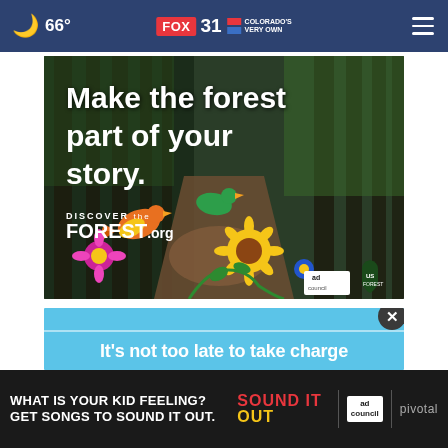🌙 66° FOX 31 2 COLORADO'S VERY OWN
[Figure (photo): Advertisement for DiscovertheForest.org showing a forest trail with tall trees and colorful folk-art style birds and flowers. Text reads: 'Make the forest part of your story. DISCOVER the FOREST.org' with Ad Council and US Forest Service logos.]
[Figure (screenshot): Blue advertisement banner with close (X) button and text: 'It's not too late to take charge']
[Figure (screenshot): Bottom banner ad on dark background: 'WHAT IS YOUR KID FEELING? GET SONGS TO SOUND IT OUT.' with Sound It Out logo, Ad Council badge, and Pivotal branding.]